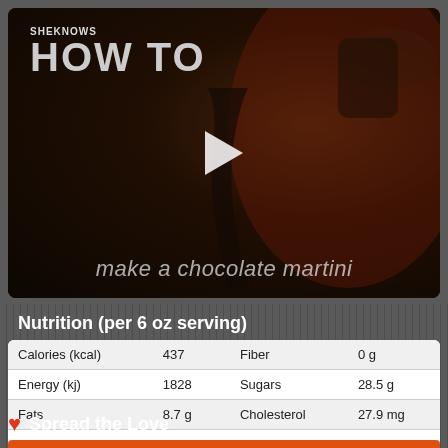[Figure (screenshot): SheKnows 'How To' video thumbnail showing chocolate being poured, with play button and subtitle 'make a chocolate martini']
Nutrition (per 6 oz serving)
| Calories (kcal) | 437 | Fiber | 0 g |
| Energy (kj) | 1828 | Sugars | 28.5 g |
| Fats | 8.7 g | Cholesterol | 27.9 mg |
| Carbohydrates | 42.3 g | Sodium | 31 mg |
| Protein | 17.2 g | Alcohol | 83 mg |
Spread the Love